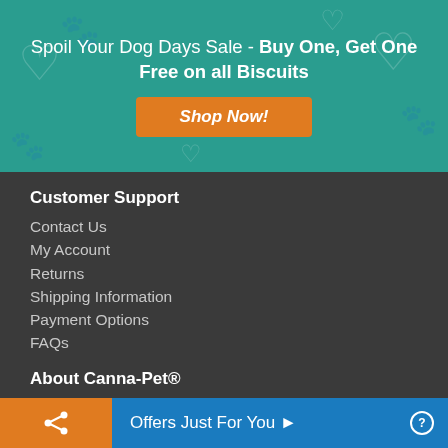[Figure (infographic): Teal promotional banner with decorative dog paw and heart watermarks]
Spoil Your Dog Days Sale - Buy One, Get One Free on all Biscuits
Shop Now!
Customer Support
Contact Us
My Account
Returns
Shipping Information
Payment Options
FAQs
About Canna-Pet®
Canna-Pet® produces the only legal, veterinarian-recommended, non-prescription CBD products
Offers Just For You ▶